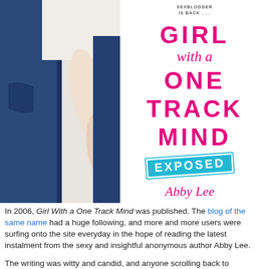[Figure (illustration): Book cover of 'Girl With a One Track Mind Exposed' by Abby Lee. Left half shows a photograph of a person in jeans carrying someone. Right half is white with the book title in pink bold lettering, 'EXPOSED' in a teal stamp graphic, and the author name Abby Lee in pink italic script. Top text reads 'SEXBLOGGER IS BACK...']
In 2006, Girl With a One Track Mind was published. The blog of the same name had a huge following, and more and more users were surfing onto the site everyday in the hope of reading the latest instalment from the sexy and insightful anonymous author Abby Lee.
The writing was witty and candid, and anyone scrolling back to